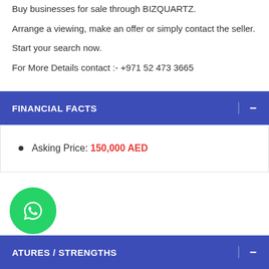Buy businesses for sale through BIZQUARTZ.
Arrange a viewing, make an offer or simply contact the seller.
Start your search now.
For More Details contact :- +971 52 473 3665
FINANCIAL FACTS
Asking Price: 150,000 AED
ATURES / STRENGTHS